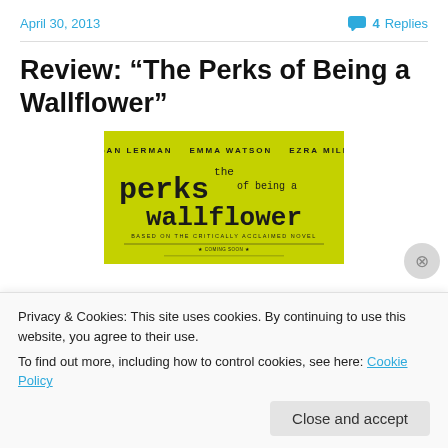April 30, 2013   4 Replies
Review: “The Perks of Being a Wallflower”
[Figure (photo): Movie poster for 'The Perks of Being a Wallflower' featuring yellow-green background with typewriter-style text showing title and cast names: Logan Lerman, Emma Watson, Ezra Miller]
Privacy & Cookies: This site uses cookies. By continuing to use this website, you agree to their use.
To find out more, including how to control cookies, see here: Cookie Policy